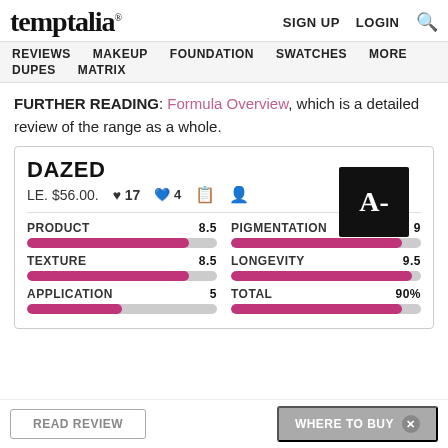temptalia® — SIGN UP  LOGIN  🔍
REVIEWS  MAKEUP  FOUNDATION  SWATCHES  MORE  DUPES  MATRIX
FURTHER READING: Formula Overview, which is a detailed review of the range as a whole.
| CATEGORY | SCORE |
| --- | --- |
| PRODUCT | 8.5 |
| TEXTURE | 8.5 |
| APPLICATION | 5 |
| PIGMENTATION | 9 |
| LONGEVITY | 9.5 |
| TOTAL | 90% |
DAZED — LE. $56.00. — Grade: A-
READ REVIEW — WHERE TO BUY